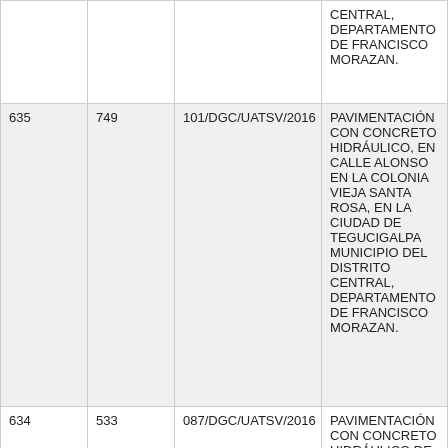|  |  |  | CENTRAL, DEPARTAMENTO DE FRANCISCO MORAZAN. |
| 635 | 749 | 101/DGC/UATSV/2016 | PAVIMENTACIÓN CON CONCRETO HIDRÁULICO, EN CALLE ALONSO EN LA COLONIA VIEJA SANTA ROSA, EN LA CIUDAD DE TEGUCIGALPA MUNICIPIO DEL DISTRITO CENTRAL, DEPARTAMENTO DE FRANCISCO MORAZAN. |
| 634 | 533 | 087/DGC/UATSV/2016 | PAVIMENTACIÓN CON CONCRETO HIDRÁULICO DE CALLE BARRIO EL CENTRO Y... |